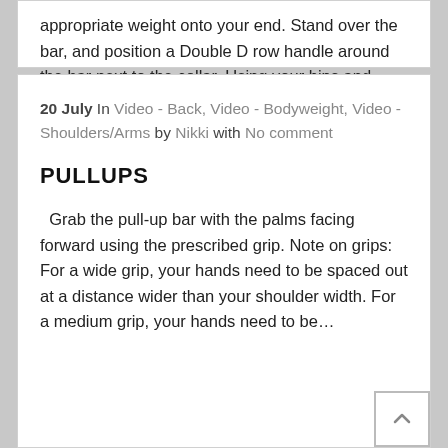appropriate weight onto your end. Stand over the bar, and position a Double D row handle around the bar next to the collar. Using your hips and…
♥ 0
20 July In Video - Back, Video - Bodyweight, Video - Shoulders/Arms by Nikki with No comment
PULLUPS
Grab the pull-up bar with the palms facing forward using the prescribed grip. Note on grips: For a wide grip, your hands need to be spaced out at a distance wider than your shoulder width. For a medium grip, your hands need to be…